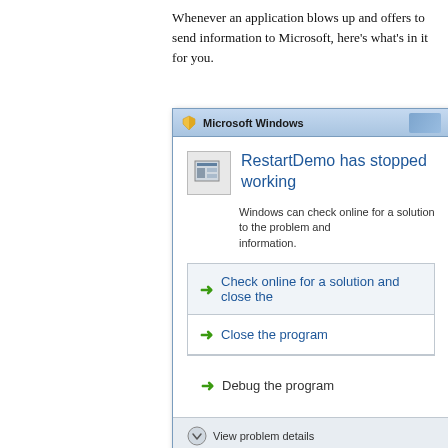Whenever an application blows up and offers to send information to Microsoft, here's what's in it for you.
[Figure (screenshot): Windows dialog box showing 'RestartDemo has stopped working' crash dialog with options to Check online for a solution and close the program, Close the program, and Debug the program, plus a View problem details link at the bottom.]
Sometimes, when you send this information to the giant Windows database, you can click for more information. That doesn't happen to me very much, but you can't benefit from the fix when the developers finally get around to it, so if you can remember.